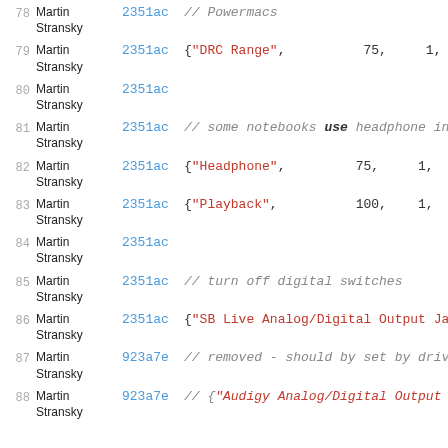| line | author | commit | code |
| --- | --- | --- | --- |
| 78 | Martin Stransky | 2351ac | // Powermacs |
| 79 | Martin Stransky | 2351ac | {"DRC Range",    75,   1, |
| 80 | Martin Stransky | 2351ac |  |
| 81 | Martin Stransky | 2351ac | // some notebooks use headphone in |
| 82 | Martin Stransky | 2351ac | {"Headphone",    75,   1, |
| 83 | Martin Stransky | 2351ac | {"Playback",    100,   1, |
| 84 | Martin Stransky | 2351ac |  |
| 85 | Martin Stransky | 2351ac | // turn off digital switches |
| 86 | Martin Stransky | 2351ac | {"SB Live Analog/Digital Output Ja |
| 87 | Martin Stransky | 923a7e | // removed - should by set by driv |
| 88 | Martin Stransky | 923a7e | // {"Audigy Analog/Digital Output |